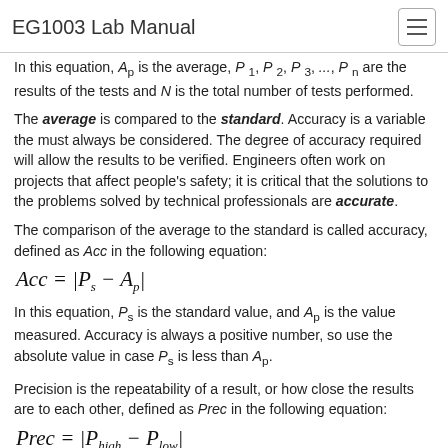EG1003 Lab Manual
In this equation, Ap is the average, P 1, P 2, P 3, ..., P n are the results of the tests and N is the total number of tests performed.
The average is compared to the standard. Accuracy is a variable the must always be considered. The degree of accuracy required will allow the results to be verified. Engineers often work on projects that affect people's safety; it is critical that the solutions to the problems solved by technical professionals are accurate.
The comparison of the average to the standard is called accuracy, defined as Acc in the following equation:
In this equation, P_s is the standard value, and A_p is the value measured. Accuracy is always a positive number, so use the absolute value in case P_s is less than A_p.
Precision is the repeatability of a result, or how close the results are to each other, defined as Prec in the following equation:
In this equation, Prec is precision, P_high is the highest data value